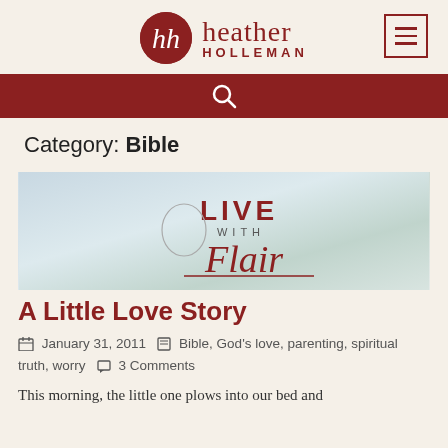[Figure (logo): Heather Holleman website logo with circular monogram in dark red and site name, plus hamburger menu icon]
[Figure (other): Red search bar with white magnifying glass icon]
Category: Bible
[Figure (photo): Live with Flair blog post thumbnail image with soft blue-green gradient and cursive Live with Flair text]
A Little Love Story
January 31, 2011   Bible, God's love, parenting, spiritual truth, worry   3 Comments
This morning, the little one plows into our bed and